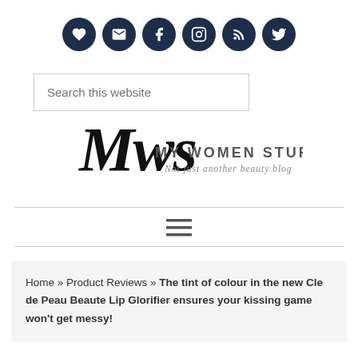[Figure (infographic): Row of 6 dark navy social media icon circles: heart/favorites, email, Facebook, Instagram, RSS, Twitter]
[Figure (other): Search box with placeholder text 'Search this website']
[Figure (logo): My Women Stuff logo — stylized script 'Mws' with text 'MY WOMEN STUFF' and tagline 'Not just another beauty blog']
[Figure (other): Hamburger menu icon (three horizontal lines) between two horizontal dividers]
Home » Product Reviews » The tint of colour in the new Cle de Peau Beaute Lip Glorifier ensures your kissing game won't get messy!